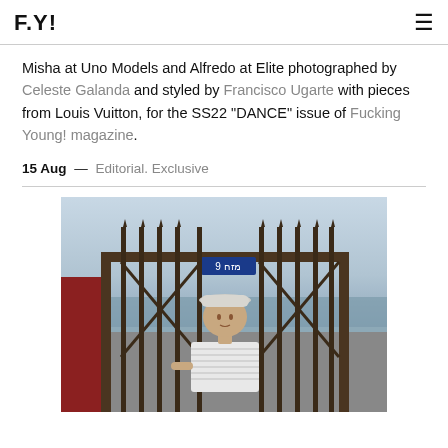F.Y!
Misha at Uno Models and Alfredo at Elite photographed by Celeste Galanda and styled by Francisco Ugarte with pieces from Louis Vuitton, for the SS22 “DANCE” issue of Fucking Young! magazine.
15 Aug — Editorial. Exclusive
[Figure (photo): A young male model wearing a striped t-shirt and light bucket hat, standing in front of an iron gate with a Hebrew sign reading מזח 9, with a harbor/port visible in the background.]